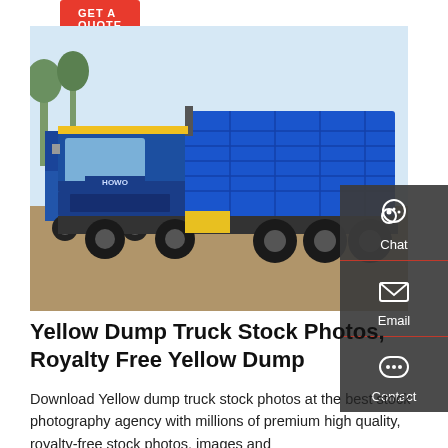[Figure (photo): Blue HOWO dump truck parked outdoors with raised dump bed, additional blue trucks visible in background, taken in daylight]
Yellow Dump Truck Stock Photos, Royalty Free Yellow Dump
Download Yellow dump truck stock photos at the best stock photography agency with millions of premium high quality, royalty-free stock photos, images and